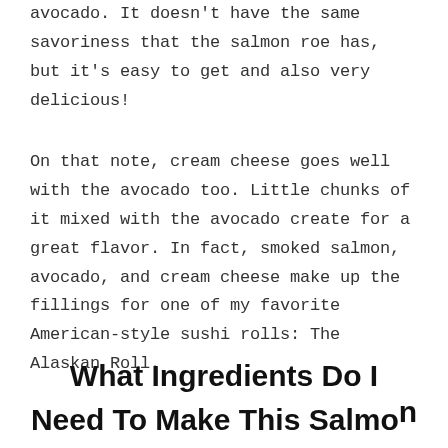avocado. It doesn't have the same savoriness that the salmon roe has, but it's easy to get and also very delicious!
On that note, cream cheese goes well with the avocado too. Little chunks of it mixed with the avocado create for a great flavor. In fact, smoked salmon, avocado, and cream cheese make up the fillings for one of my favorite American-style sushi rolls: The Alaskan Roll.
What Ingredients Do I Need To Make This Salmon